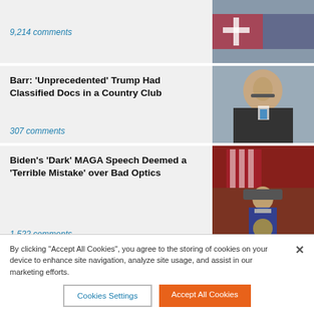9,214 comments
[Figure (photo): Political figures at podium with American flag]
Barr: 'Unprecedented' Trump Had Classified Docs in a Country Club
307 comments
[Figure (photo): William Barr in glasses and suit with blue tie]
Biden's 'Dark' MAGA Speech Deemed a 'Terrible Mistake' over Bad Optics
1,522 comments
[Figure (photo): Biden speaking at podium with American flag backdrop lit in red]
FBI Blasted for 'Staged' Photo of
[Figure (photo): Stacks of documents and envelopes on a surface]
By clicking "Accept All Cookies", you agree to the storing of cookies on your device to enhance site navigation, analyze site usage, and assist in our marketing efforts.
Cookies Settings
Accept All Cookies